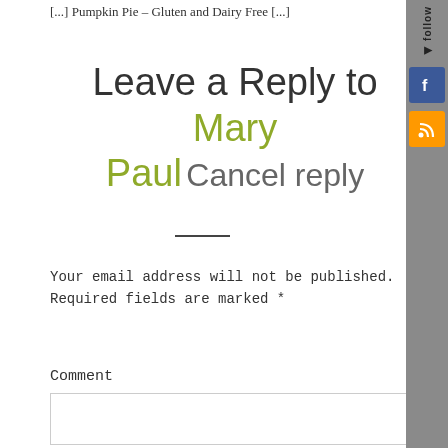[...] Pumpkin Pie – Gluten and Dairy Free [...]
Leave a Reply to Mary Paul Cancel reply
—
Your email address will not be published. Required fields are marked *
Comment
[Figure (screenshot): Comment text input box]